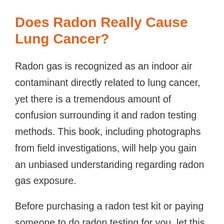Does Radon Really Cause Lung Cancer?
Radon gas is recognized as an indoor air contaminant directly related to lung cancer, yet there is a tremendous amount of confusion surrounding it and radon testing methods. This book, including photographs from field investigations, will help you gain an unbiased understanding regarding radon gas exposure.
Before purchasing a radon test kit or paying someone to do radon testing for you, let this book explain in layman's